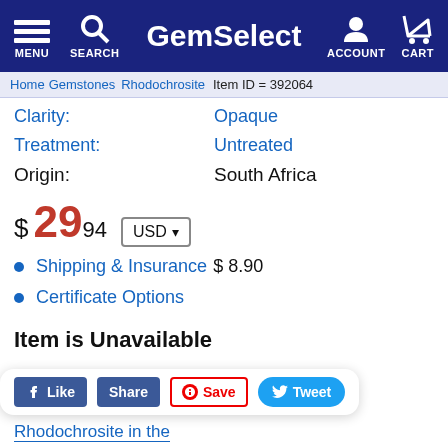GemSelect — MENU SEARCH ACCOUNT CART
Home > Gemstones > Rhodochrosite | Item ID = 392064
Clarity: Opaque
Treatment: Untreated
Origin: South Africa
$ 29 .94 USD
Shipping & Insurance $ 8.90
Certificate Options
Item is Unavailable
Product Description
Rhodochrosite in the
SUPER SIZE or 4mm x 4mm x 4mm. This product is